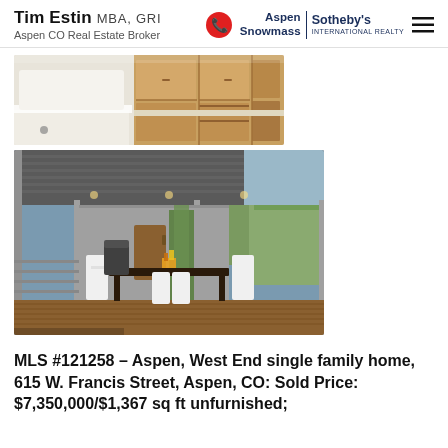Tim Estin MBA, GRI | Aspen CO Real Estate Broker | Aspen Snowmass Sotheby's International Realty
[Figure (photo): Interior photo of a modern bathroom with white bathtub and warm wood cabinetry/shelving]
[Figure (photo): Exterior photo of a modern covered patio/pergola area with outdoor dining table surrounded by white chairs, outdoor kitchen, and lush greenery]
MLS #121258 – Aspen, West End single family home, 615 W. Francis Street, Aspen, CO: Sold Price: $7,350,000/$1,367 sq ft unfurnished;